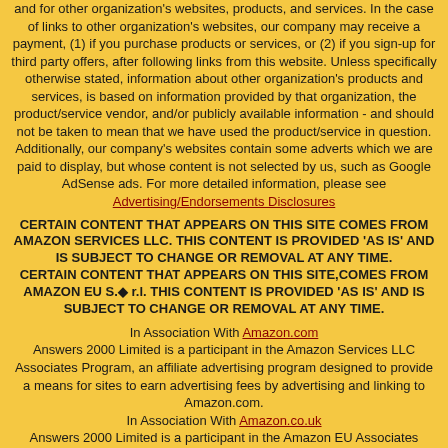and for other organization's websites, products, and services. In the case of links to other organization's websites, our company may receive a payment, (1) if you purchase products or services, or (2) if you sign-up for third party offers, after following links from this website. Unless specifically otherwise stated, information about other organization's products and services, is based on information provided by that organization, the product/service vendor, and/or publicly available information - and should not be taken to mean that we have used the product/service in question. Additionally, our company's websites contain some adverts which we are paid to display, but whose content is not selected by us, such as Google AdSense ads. For more detailed information, please see Advertising/Endorsements Disclosures
CERTAIN CONTENT THAT APPEARS ON THIS SITE COMES FROM AMAZON SERVICES LLC. THIS CONTENT IS PROVIDED 'AS IS' AND IS SUBJECT TO CHANGE OR REMOVAL AT ANY TIME. CERTAIN CONTENT THAT APPEARS ON THIS SITE,COMES FROM AMAZON EU S.◆ r.l. THIS CONTENT IS PROVIDED 'AS IS' AND IS SUBJECT TO CHANGE OR REMOVAL AT ANY TIME.
In Association With Amazon.com
Answers 2000 Limited is a participant in the Amazon Services LLC Associates Program, an affiliate advertising program designed to provide a means for sites to earn advertising fees by advertising and linking to Amazon.com.
In Association With Amazon.co.uk
Answers 2000 Limited is a participant in the Amazon EU Associates Programme, an affiliate advertising programme designed to provide a means for sites to earn advertising fees by advertising and linking to Amazon.co.uk.
As an Amazon Associate, our company earns from qualifying purchases. Amazon